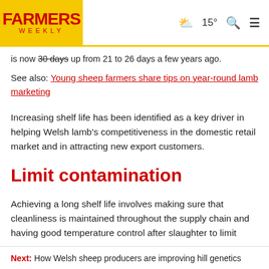Farmers Weekly | 15° [weather] [search] [menu]
is now ~~30 days~~ up from 21 to 26 days a few years ago.
See also: Young sheep farmers share tips on year-round lamb marketing
Increasing shelf life has been identified as a key driver in helping Welsh lamb's competitiveness in the domestic retail market and in attracting new export customers.
Limit contamination
Achieving a long shelf life involves making sure that cleanliness is maintained throughout the supply chain and having good temperature control after slaughter to limit
Next: How Welsh sheep producers are improving hill genetics